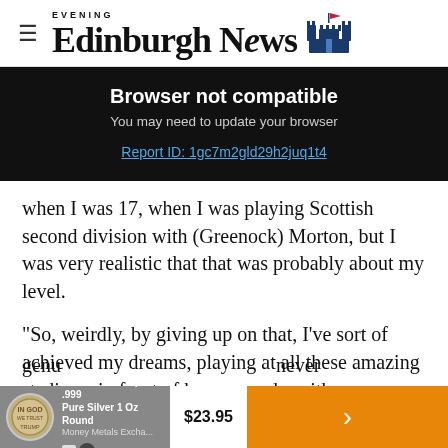Edinburgh Evening News
Browser not compatible
You may need to update your browser
Report ID: 1gc7m2gld29h2juq1t4
when I was 17, when I was playing Scottish second division with (Greenock) Morton, but I was very realistic that that was probably about my level.
“So, weirdly, by giving up on that, I’ve sort of achieved my dreams, playing at all these amazing stadiums in front of huge crowds, with genu[inely something I've] never
[Figure (screenshot): Advertisement bar: President Trump .999 Pure Silver 1 Oz Round, $23.95, Money Metals Exchange]